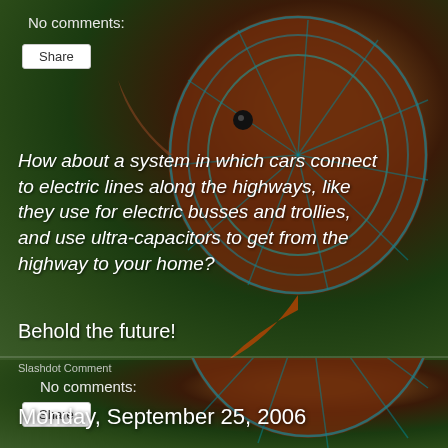[Figure (photo): Tropical discus fish with blue and brown striped pattern against green blurred aquatic background, shown in upper half]
No comments:
Share
How about a system in which cars connect to electric lines along the highways, like they use for electric busses and trollies, and use ultra-capacitors to get from the highway to your home?
Behold the future!
Slashdot Comment
No comments:
Share
Monday, September 25, 2006
[Figure (photo): Tropical discus fish with blue and brown striped pattern against green blurred aquatic background, shown in lower portion]